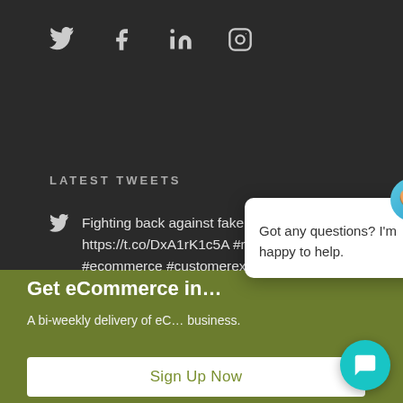[Figure (other): Social media icons: Twitter, Facebook, LinkedIn, Instagram on dark background]
LATEST TWEETS
Fighting back against fake reviews: https://t.co/DxA1rK1c5A #ratings #reviews #ecommerce #customerexperienc…
Get eCommerce in…
A bi-weekly delivery of eC… business.
Sign Up Now
[Figure (other): Chat widget popup with avatar icon saying 'Got any questions? I'm happy to help.' and close button, plus teal chat launcher button]